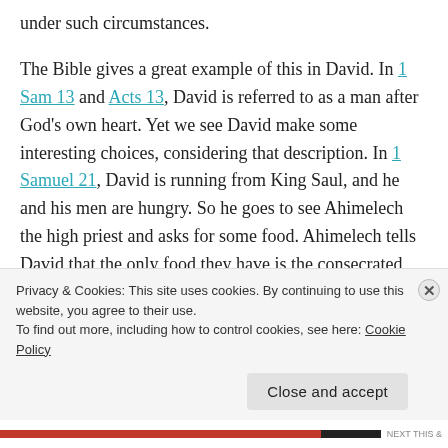under such circumstances.
The Bible gives a great example of this in David. In 1 Sam 13 and Acts 13, David is referred to as a man after God’s own heart. Yet we see David make some interesting choices, considering that description. In 1 Samuel 21, David is running from King Saul, and he and his men are hungry. So he goes to see Ahimelech the high priest and asks for some food. Ahimelech tells David that the only food they have is the consecrated bread, which only priests can eat. David and his men eat the bread. In Mark 2:23-28, Jesus...
Privacy & Cookies: This site uses cookies. By continuing to use this website, you agree to their use.
To find out more, including how to control cookies, see here: Cookie Policy
Close and accept